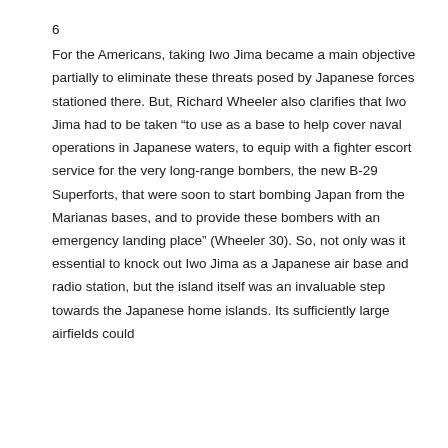6
For the Americans, taking Iwo Jima became a main objective partially to eliminate these threats posed by Japanese forces stationed there. But, Richard Wheeler also clarifies that Iwo Jima had to be taken “to use as a base to help cover naval operations in Japanese waters, to equip with a fighter escort service for the very long-range bombers, the new B-29 Superforts, that were soon to start bombing Japan from the Marianas bases, and to provide these bombers with an emergency landing place” (Wheeler 30). So, not only was it essential to knock out Iwo Jima as a Japanese air base and radio station, but the island itself was an invaluable step towards the Japanese home islands. Its sufficiently large airfields could